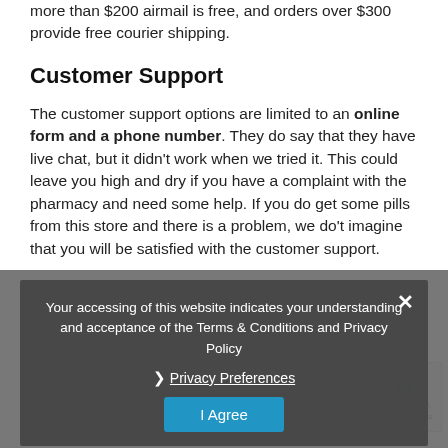more than $200 airmail is free, and orders over $300 provide free courier shipping.
Customer Support
The customer support options are limited to an online form and a phone number. They do say that they have live chat, but it didn’t work when we tried it. This could leave you high and dry if you have a complaint with the pharmacy and need some help. If you do get some pills from this store and there is a problem, we do’t imagine that you will be satisfied with the customer support.
Your accessing of this website indicates your understanding and acceptance of the Terms & Conditions and Privacy Policy
Privacy Preferences
I Agree
Your Name:
Your Email: